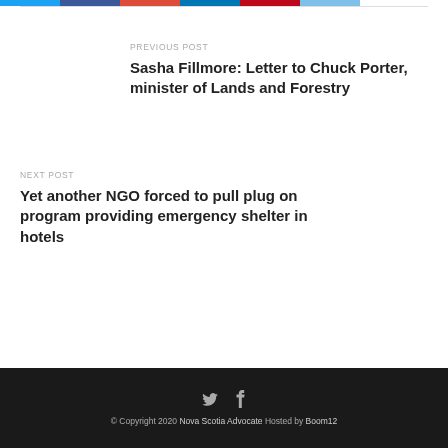PREVIOUS POST
Sasha Fillmore: Letter to Chuck Porter, minister of Lands and Forestry
NEXT POST
Yet another NGO forced to pull plug on program providing emergency shelter in hotels
© Copyright 2020 Nova Scotia Advocate Hosted by Boom12